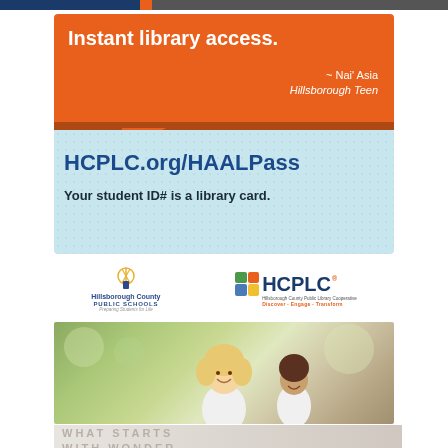[Figure (infographic): Orange speech bubble ad with text 'Instant library access. ~ Nai Asia, Hillsborough Teen' on orange background, below showing HCPLC.org/HAALPass and 'Your student ID# is a library card.' on light blue dotted background]
[Figure (logo): Hillsborough County Public Schools logo with torch icon and tagline 'Preparing Students for Life']
[Figure (logo): HCPLC logo with colorful grid squares and tagline 'Discover · Engage · Transform']
[Figure (photo): Photo of smiling young blonde girl in white shirt running outdoors with another child in background, bokeh green background]
WHAT STARTS WITH WONDER.